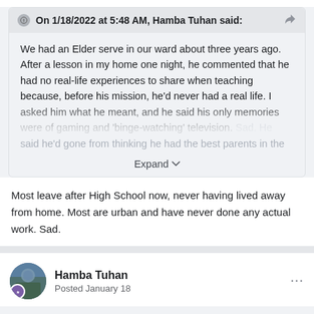On 1/18/2022 at 5:48 AM, Hamba Tuhan said:
We had an Elder serve in our ward about three years ago. After a lesson in my home one night, he commented that he had no real-life experiences to share when teaching because, before his mission, he'd never had a real life. I asked him what he meant, and he said his only memories were of gaming and 'binge-watching' television. Sad. He said he'd gone from thinking he had the best parents in the
Most leave after High School now, never having lived away from home. Most are urban and have never done any actual work. Sad.
Hamba Tuhan
Posted January 18